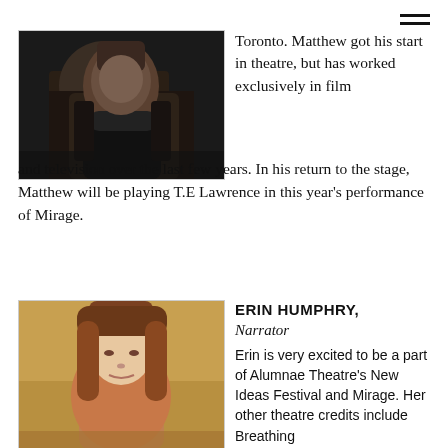[Figure (photo): Close-up photo of a man in dark leather costume/armour, face partially visible]
Toronto. Matthew got his start in theatre, but has worked exclusively in film and television over the last few years. In his return to the stage, Matthew will be playing T.E Lawrence in this year's performance of Mirage.
[Figure (photo): Headshot photo of a young woman with long auburn/red hair, smiling slightly, against a warm blurred background]
ERIN HUMPHRY, Narrator
Erin is very excited to be a part of Alumnae Theatre's New Ideas Festival and Mirage. Her other theatre credits include Breathing...